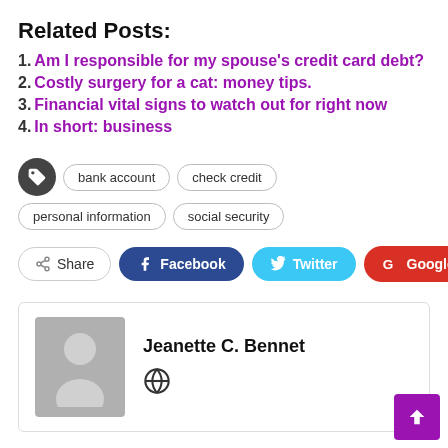Related Posts:
1. Am I responsible for my spouse's credit card debt?
2. Costly surgery for a cat: money tips.
3. Financial vital signs to watch out for right now
4. In short: business
Tags: bank account, check credit, personal information, social security
[Figure (infographic): Social share buttons: Share, Facebook, Twitter, Google+, and a plus button]
Jeanette C. Bennet - author bio box with avatar placeholder and globe icon